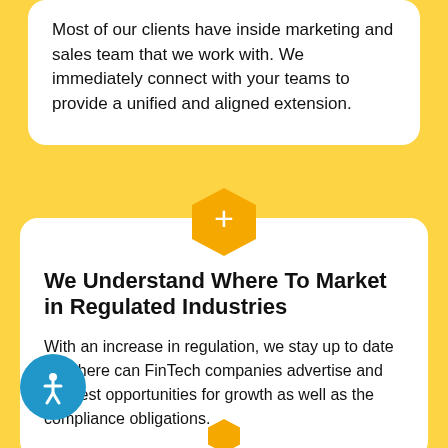Most of our clients have inside marketing and sales team that we work with. We immediately connect with your teams to provide a unified and aligned extension.
[Figure (illustration): Orange hexagon icon with white plus sign in the center]
We Understand Where To Market in Regulated Industries
With an increase in regulation, we stay up to date on where can FinTech companies advertise and the best opportunities for growth as well as the compliance obligations.
[Figure (illustration): Blue circular accessibility button with white person icon]
[Figure (illustration): Orange hexagon partially visible at bottom of page]